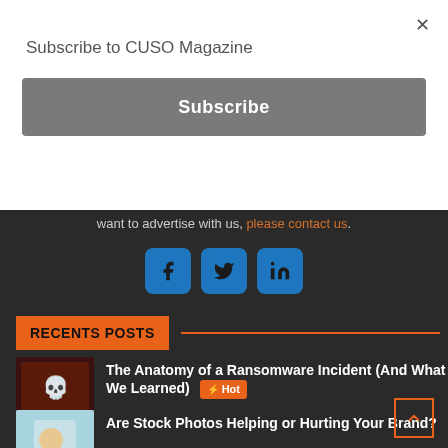Subscribe to CUSO Magazine
Subscribe
want to advertise with us, please contact us.
[Figure (illustration): Social media icons: Facebook, Twitter, LinkedIn in blue rounded squares]
RECENTS POSTS
The Anatomy of a Ransomware Incident (And What We Learned)  Hot
Are Stock Photos Helping or Hurting Your Brand?